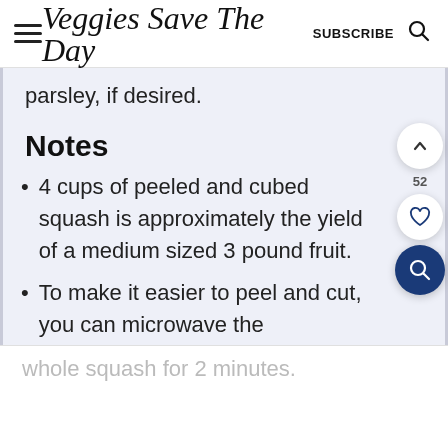Veggies Save The Day  SUBSCRIBE
parsley, if desired.
Notes
4 cups of peeled and cubed squash is approximately the yield of a medium sized 3 pound fruit.
To make it easier to peel and cut, you can microwave the
whole squash for 2 minutes.